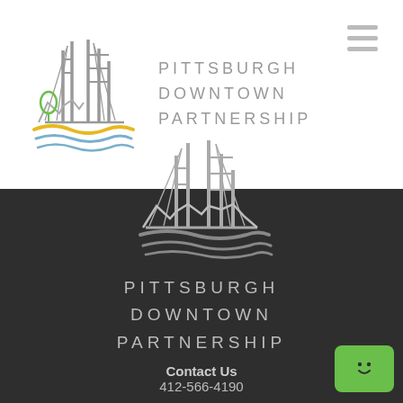[Figure (logo): Pittsburgh Downtown Partnership logo with bridge/mountain sketch in color (gray bridge, yellow and blue water swooshes, green vine) in the header]
PITTSBURGH
DOWNTOWN
PARTNERSHIP
[Figure (logo): Pittsburgh Downtown Partnership logo (bridge/mountain sketch, grayscale) centered on dark background]
PITTSBURGH
DOWNTOWN
PARTNERSHIP
Contact Us
412-566-4190